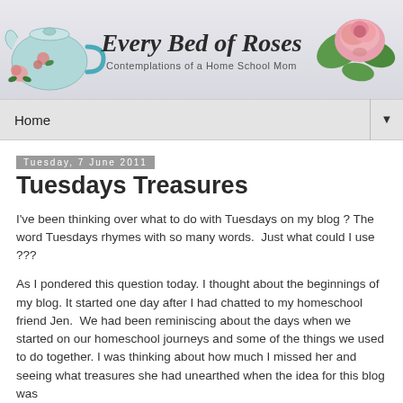[Figure (illustration): Blog header banner reading 'Every Bed of Roses – Contemplations of a Home School Mom' with a decorative teapot and pink roses illustration on a light gray/lavender background.]
Home
Tuesday, 7 June 2011
Tuesdays Treasures
I've been thinking over what to do with Tuesdays on my blog ? The word Tuesdays rhymes with so many words.  Just what could I use ???
As I pondered this question today. I thought about the beginnings of my blog. It started one day after I had chatted to my homeschool friend Jen.  We had been reminiscing about the days when we started on our homeschool journeys and some of the things we used to do together. I was thinking about how much I missed her and seeing what treasures she had unearthed when the idea for this blog was